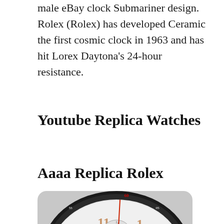male eBay clock Submariner design. Rolex (Rolex) has developed Ceramic the first cosmic clock in 1963 and has hit Lorex Daytona's 24-hour resistance.
Youtube Replica Watches
Aaaa Replica Rolex
[Figure (photo): Close-up photo of a Montblanc chronograph watch face showing rose gold hands, subdials, tachymeter bezel, and a date window displaying MON 8. The dial is silver/white with the Montblanc logo and 'Automatic' text visible.]